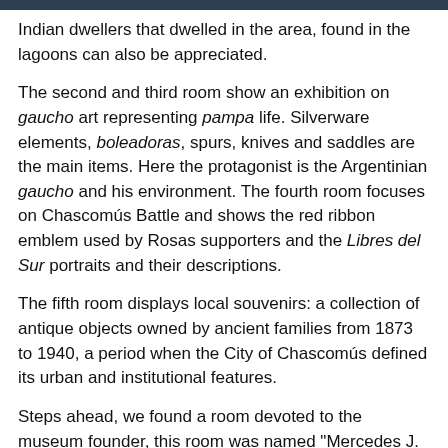Indian dwellers that dwelled in the area, found in the lagoons can also be appreciated.
The second and third room show an exhibition on gaucho art representing pampa life. Silverware elements, boleadoras, spurs, knives and saddles are the main items. Here the protagonist is the Argentinian gaucho and his environment. The fourth room focuses on Chascomús Battle and shows the red ribbon emblem used by Rosas supporters and the Libres del Sur portraits and their descriptions.
The fifth room displays local souvenirs: a collection of antique objects owned by ancient families from 1873 to 1940, a period when the City of Chascomús defined its urban and institutional features.
Steps ahead, we found a room devoted to the museum founder, this room was named "Mercedes J. Aldaur", a well-known teacher and poet of the city who now would be proud of her museum. This place offers temporary exhibitions and conferences free of charge and admission.
This is a historical venue part of the present of residents and visitors.